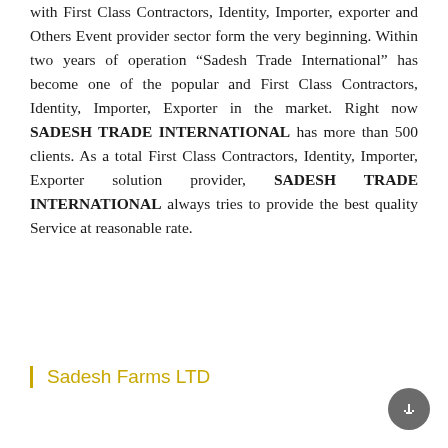with First Class Contractors, Identity, Importer, exporter and Others Event provider sector form the very beginning. Within two years of operation “Sadesh Trade International” has become one of the popular and First Class Contractors, Identity, Importer, Exporter in the market. Right now SADESH TRADE INTERNATIONAL has more than 500 clients. As a total First Class Contractors, Identity, Importer, Exporter solution provider, SADESH TRADE INTERNATIONAL always tries to provide the best quality Service at reasonable rate.
Sadesh Farms LTD